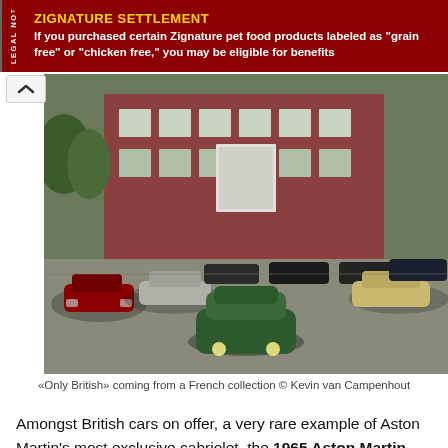ZIGNATURE SETTLEMENT – If you purchased certain Zignature pet food products labeled as "grain free" or "chicken free," you may be eligible for benefits
[Figure (photo): A collection of classic British cars arranged in front of a red brick building. Multiple vintage cars including Aston Martins and other British sports cars, with a green car in the center foreground. Photo credit: Kevin van Campenhout.]
«Only British» coming from a French collection © Kevin van Campenhout
Amongst British cars on offer, a very rare example of Aston Martin's most exclusive cabriolet, the 1965 Aston Martin Short Chassis Volante, an original left-hand drive car and the only Volante delivered new in Autumn Gold